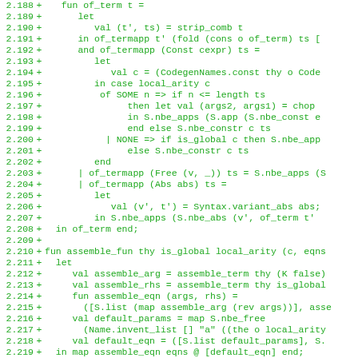[Figure (screenshot): Source code diff showing lines 2.188 to 2.219, green monospace text on white background, with line numbers, plus signs indicating additions, and ML/functional programming code.]